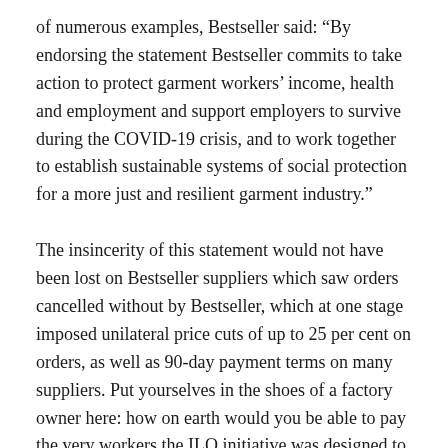of numerous examples, Bestseller said: “By endorsing the statement Bestseller commits to take action to protect garment workers’ income, health and employment and support employers to survive during the COVID-19 crisis, and to work together to establish sustainable systems of social protection for a more just and resilient garment industry.”
The insincerity of this statement would not have been lost on Bestseller suppliers which saw orders cancelled without by Bestseller, which at one stage imposed unilateral price cuts of up to 25 per cent on orders, as well as 90-day payment terms on many suppliers. Put yourselves in the shoes of a factory owner here: how on earth would you be able to pay the very workers the ILO initiative was designed to protect if all brands were behaving like this?